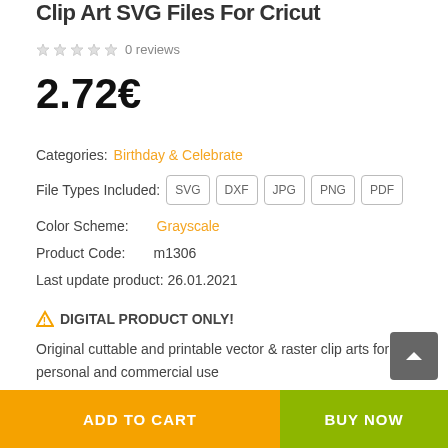Clip Art SVG Files For Cricut
0 reviews
2.72€
Categories: Birthday & Celebrate
File Types Included: SVG DXF JPG PNG PDF
Color Scheme: Grayscale
Product Code: m1306
Last update product: 26.01.2021
⚠ DIGITAL PRODUCT ONLY!
Original cuttable and printable vector & raster clip arts for personal and commercial use
Suitable for: Birthday